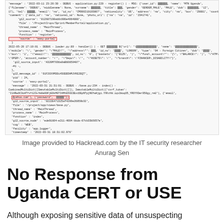[Figure (screenshot): Screenshot of application log output showing JSON-formatted log entries with sensitive user data including email and password fields highlighted in red boxes. Log entries show timestamps around 2022-03-31, source 'easy-portal', file paths, thread names, and a g12_source_node identifier.]
Image provided to Hackread.com by the IT security researcher Anurag Sen
No Response from Uganda CERT or USE
Although exposing sensitive data of unsuspecting